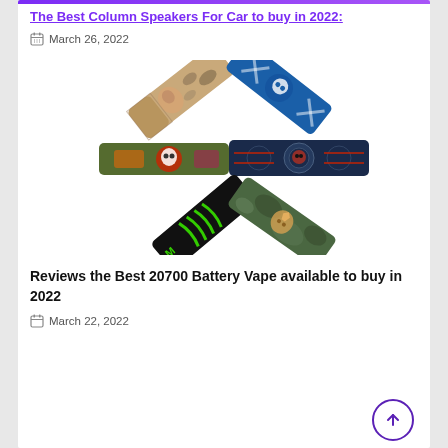The Best Column Speakers For Car to buy in 2022:
March 26, 2022
[Figure (photo): Five decorative vape battery wraps arranged in a fan/star pattern: camouflage-tan with face print, blue with bones/skull pattern, green camo skull, dark blue/black mandala skull, and black with green monster energy style design.]
Reviews the Best 20700 Battery Vape available to buy in 2022
March 22, 2022